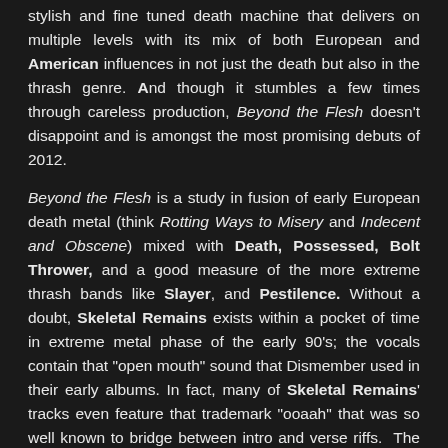stylish and fine tuned death machine that delivers on multiple levels with its mix of both European and American influences in not just the death but also in the thrash genre. And though it stumbles a few times through careless production, Beyond the Flesh doesn't disappoint and is amongst the most promising debuts of 2012.

Beyond the Flesh is a study in fusion of early European death metal (think Rotting Ways to Misery and Indecent and Obscene) mixed with Death, Possessed, Bolt Thrower, and a good measure of the more extreme thrash bands like Slayer, and Pestilence. Without a doubt, Skeletal Remains exists within a pocket of time in extreme metal phase of the early 90's; the vocals contain that "open mouth" sound that Dismember used in their early albums. In fact, many of Skeletal Remains' tracks even feature that trademark "ooaah" that was so well known to bridge between intro and verse riffs. The sound behind that of Beyond the Flesh is